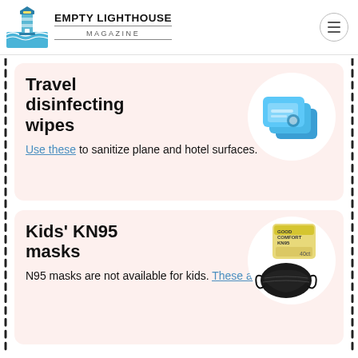Empty Lighthouse Magazine
Travel disinfecting wipes
Use these to sanitize plane and hotel surfaces.
[Figure (photo): Blue travel disinfecting wipes packets shown in a white circle on pink background]
Kids' KN95 masks
N95 masks are not available for kids. These are a good
[Figure (photo): Kids KN95 black mask with Good Comfort KN95 box shown in a white circle on pink background]